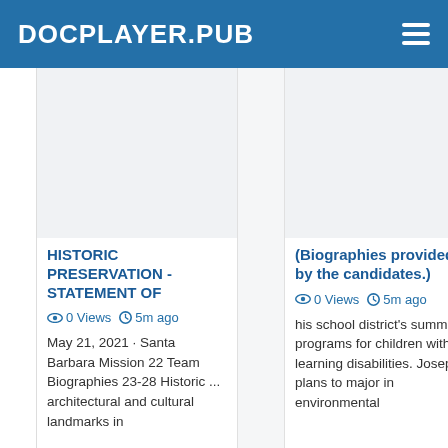DOCPLAYER.PUB
[Figure (screenshot): Thumbnail placeholder for Historic Preservation article]
HISTORIC PRESERVATION - STATEMENT OF
0 Views  5m ago
May 21, 2021 · Santa Barbara Mission 22 Team Biographies 23-28 Historic ... architectural and cultural landmarks in
[Figure (screenshot): Thumbnail placeholder for Biographies article]
(Biographies provided by the candidates.)
0 Views  5m ago
his school district's summer programs for children with learning disabilities. Joseph plans to major in environmental